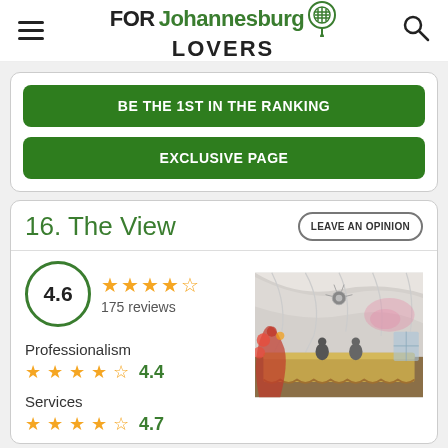FOR Johannesburg LOVERS
BE THE 1ST IN THE RANKING
EXCLUSIVE PAGE
16. The View
LEAVE AN OPINION
4.6 175 reviews
Professionalism 4.4
Services 4.7
[Figure (photo): Interior of The View event venue showing draped white ceiling, chandelier, pink lighting, and decorated head table with floral arch]